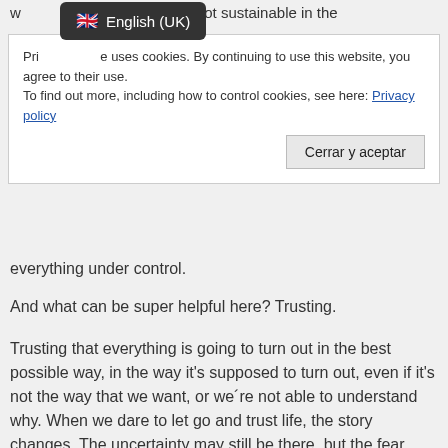w... d. And that s not sustainable in the
[Figure (screenshot): Language tooltip showing English (UK) with UK flag emoji]
Pri... e uses cookies. By continuing to use this website, you agree to their use.
To find out more, including how to control cookies, see here: Privacy policy
Cerrar y aceptar
everything under control.
And what can be super helpful here? Trusting.
Trusting that everything is going to turn out in the best possible way, in the way it's supposed to turn out, even if it's not the way that we want, or we´re not able to understand why. When we dare to let go and trust life, the story changes. The uncertainty may still be there, but the fear disappears.